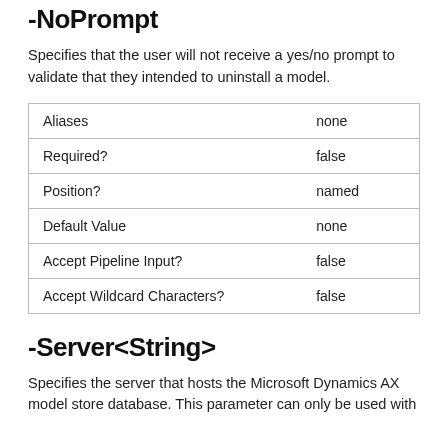-NoPrompt
Specifies that the user will not receive a yes/no prompt to validate that they intended to uninstall a model.
| Aliases | none |
| Required? | false |
| Position? | named |
| Default Value | none |
| Accept Pipeline Input? | false |
| Accept Wildcard Characters? | false |
-Server<String>
Specifies the server that hosts the Microsoft Dynamics AX model store database. This parameter can only be used with